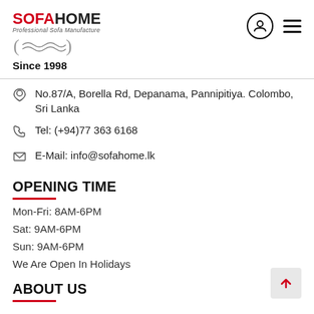[Figure (logo): SofaHome logo with sofa illustration and 'Since 1998' text]
No.87/A, Borella Rd, Depanama, Pannipitiya. Colombo, Sri Lanka
Tel: (+94)77 363 6168
E-Mail: info@sofahome.lk
OPENING TIME
Mon-Fri: 8AM-6PM
Sat: 9AM-6PM
Sun: 9AM-6PM
We Are Open In Holidays
ABOUT US